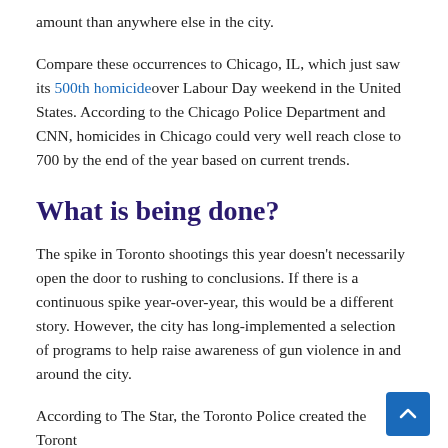amount than anywhere else in the city.
Compare these occurrences to Chicago, IL, which just saw its 500th homicide over Labour Day weekend in the United States. According to the Chicago Police Department and CNN, homicides in Chicago could very well reach close to 700 by the end of the year based on current trends.
What is being done?
The spike in Toronto shootings this year doesn't necessarily open the door to rushing to conclusions. If there is a continuous spike year-over-year, this would be a different story. However, the city has long-implemented a selection of programs to help raise awareness of gun violence in and around the city.
According to The Star, the Toronto Police created the Toronto Police Anti-Violence Intervention Strategy (TAVIS), which utilizes